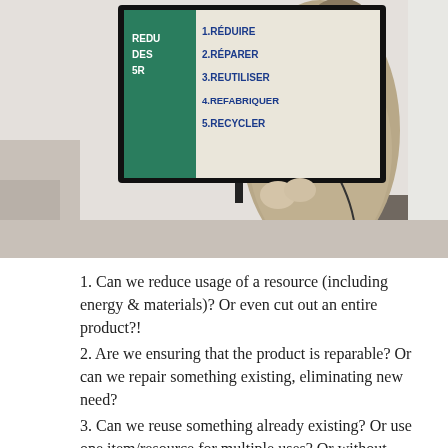[Figure (photo): A person standing with their back to the camera, presenting in front of a large screen. The screen shows a slide with a green panel on the left (text: REDU DES 5R) and white panel with French text: 1.RÉDUIRE 2.RÉPARER 3.REUTILISER 4.REFABRIQUER 5.RECYCLER]
1. Can we reduce usage of a resource (including energy & materials)? Or even cut out an entire product?!
2. Are we ensuring that the product is reparable? Or can we repair something existing, eliminating new need?
3. Can we reuse something already existing? Or use one item/resource for multiple uses? Or without changing it's form when no longer “usable” for one